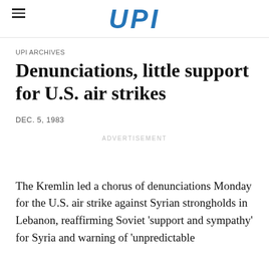UPI
UPI ARCHIVES
Denunciations, little support for U.S. air strikes
DEC. 5, 1983
ADVERTISEMENT
The Kremlin led a chorus of denunciations Monday for the U.S. air strike against Syrian strongholds in Lebanon, reaffirming Soviet 'support and sympathy' for Syria and warning of 'unpredictable